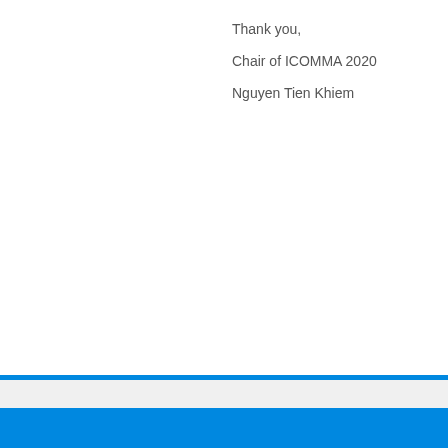Thank you,
Chair of ICOMMA 2020
Nguyen Tien Khiem